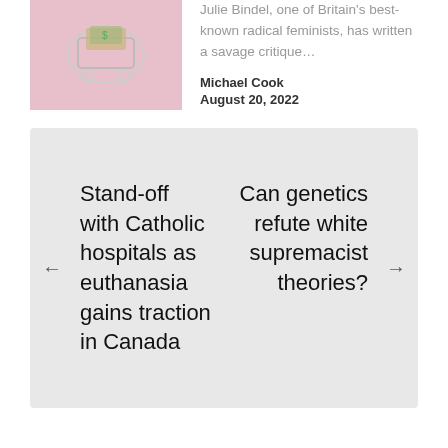[Figure (photo): Shopping cart with dollar bills, pink background]
Julie Bindel, one of Britain's best-known radical feminists, has written a savage critique…
Michael Cook
August 20, 2022
Stand-off with Catholic hospitals as euthanasia gains traction in Canada
Can genetics refute white supremacist theories?